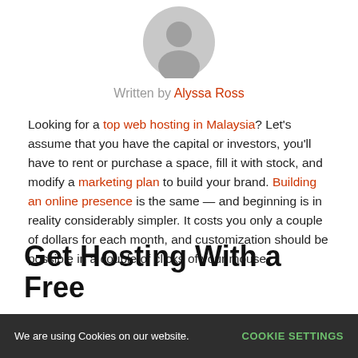[Figure (illustration): Gray circular avatar/profile placeholder icon]
Written by Alyssa Ross
Looking for a top web hosting in Malaysia? Let's assume that you have the capital or investors, you'll have to rent or purchase a space, fill it with stock, and modify a marketing plan to build your brand. Building an online presence is the same — and beginning is in reality considerably simpler. It costs you only a couple of dollars for each month, and customization should be possible in a couple of clicks of your mouse.
Get Hosting With a Free
We are using Cookies on our website. COOKIE SETTINGS